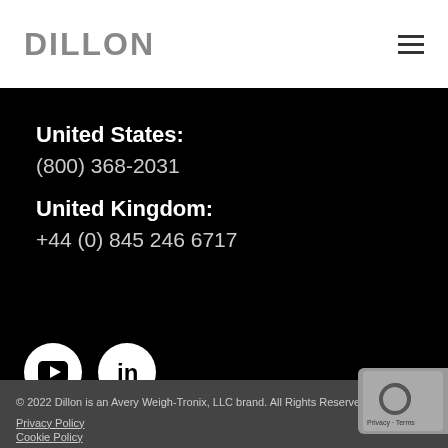DILLON
United States:
(800) 368-2031
United Kingdom:
+44 (0) 845 246 6717
[Figure (logo): YouTube icon (white circle with play button)]
[Figure (logo): LinkedIn icon (white circle with 'in')]
© 2022 Dillon is an Avery Weigh-Tronix, LLC brand. All Rights Reserved Worldwide
Privacy Policy
Cookie Policy